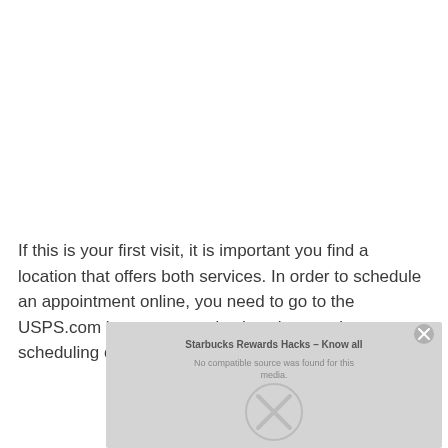If this is your first visit, it is important you find a location that offers both services. In order to schedule an appointment online, you need to go to the USPS.com homepage and select the appointment scheduling option.
[Figure (other): A media player overlay showing a greyed-out video with text 'Starbucks Rewards Hacks – Know all' and error message 'No compatible source was found for this media.' with a large X button and close button.]